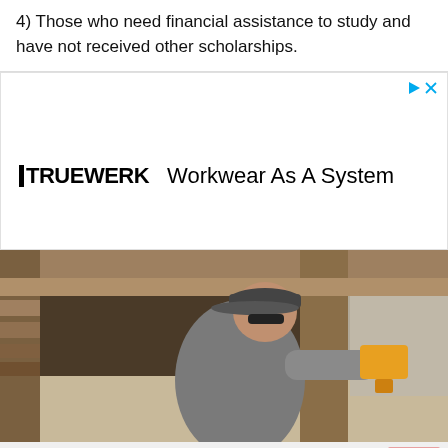4) Those who need financial assistance to study and have not received other scholarships.
[Figure (photo): Advertisement for TRUEWERK workwear brand. Shows the TRUEWERK logo with tagline 'Workwear As A System' and a photo of a man in a gray long-sleeve shirt and cap using a power drill under a wooden deck structure.]